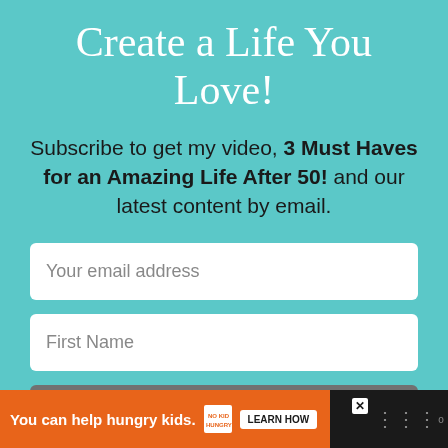Create a Life You Love!
Subscribe to get my video, 3 Must Haves for an Amazing Life After 50! and our latest content by email.
Your email address
First Name
I can't wait! Count me in!
You can help hungry kids.  NO KID HUNGRY  LEARN HOW